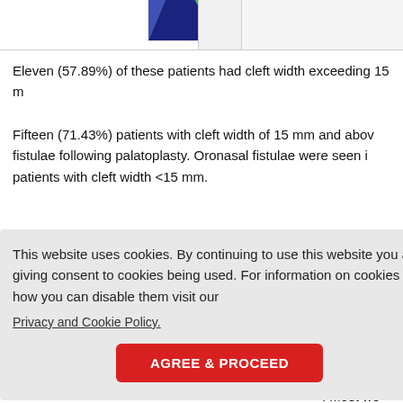[Figure (pie-chart): Partial view of a pie chart showing green and blue/dark segments, cropped at top of page]
Eleven (57.89%) of these patients had cleft width exceeding 15 m
Fifteen (71.43%) patients with cleft width of 15 mm and above had oronasal fistulae following palatoplasty. Oronasal fistulae were seen in patients with cleft width <15 mm.
stula wa
a slight p
day 18 p
This website uses cookies. By continuing to use this website you are giving consent to cookies being used. For information on cookies and how you can disable them visit our Privacy and Cookie Policy.
. Most we
during the second (11; 57.89%) postoperative week. Highest